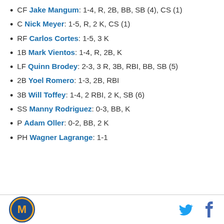CF Jake Mangum: 1-4, R, 2B, BB, SB (4), CS (1)
C Nick Meyer: 1-5, R, 2 K, CS (1)
RF Carlos Cortes: 1-5, 3 K
1B Mark Vientos: 1-4, R, 2B, K
LF Quinn Brodey: 2-3, 3 R, 3B, RBI, BB, SB (5)
2B Yoel Romero: 1-3, 2B, RBI
3B Will Toffey: 1-4, 2 RBI, 2 K, SB (6)
SS Manny Rodriguez: 0-3, BB, K
P Adam Oller: 0-2, BB, 2 K
PH Wagner Lagrange: 1-1
Logo and social media icons